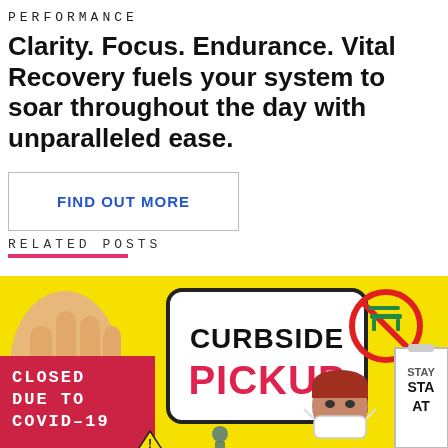PERFORMANCE
Clarity. Focus. Endurance. Vital Recovery fuels your system to soar throughout the day with unparalleled ease.
FIND OUT MORE
RELATED POSTS
[Figure (photo): Colorful collage image on yellow background showing: a hand, a 'CURBSIDE PICKUP' sign, a no-bench symbol, a person wearing a mask, a 'CLOSED DUE TO COVID-19' sign, a 'STAY AT' sign fragment, and a green virus graphic — related to COVID-19 business protocols.]